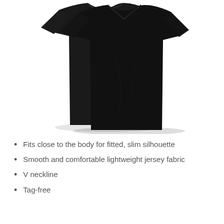[Figure (photo): Two black short-sleeve V-neck t-shirts layered on a white background, showing fitted slim silhouette]
Fits close to the body for fitted, slim silhouette
Smooth and comfortable lightweight jersey fabric
V neckline
Tag-free